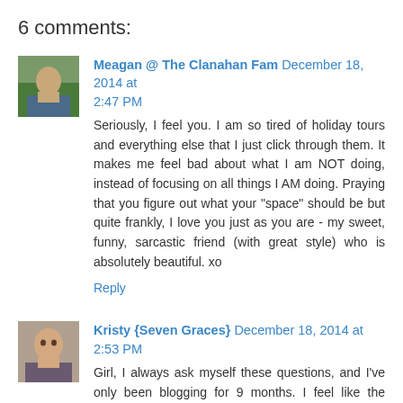6 comments:
Meagan @ The Clanahan Fam December 18, 2014 at 2:47 PM
Seriously, I feel you. I am so tired of holiday tours and everything else that I just click through them. It makes me feel bad about what I am NOT doing, instead of focusing on all things I AM doing. Praying that you figure out what your "space" should be but quite frankly, I love you just as you are - my sweet, funny, sarcastic friend (with great style) who is absolutely beautiful. xo
Reply
Kristy {Seven Graces} December 18, 2014 at 2:53 PM
Girl, I always ask myself these questions, and I've only been blogging for 9 months. I feel like the people who are going to read my blog will come back because they're loyal and we've built relationships. When I started, I thought, if I can just make one person laugh or turn a frown into a